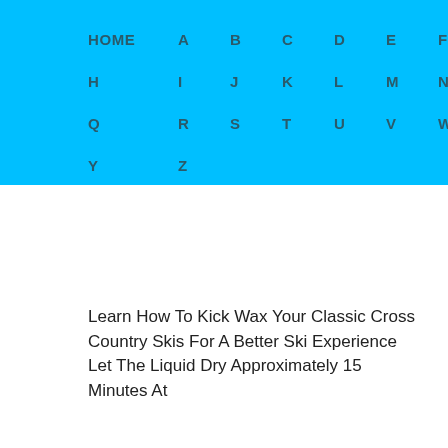HOME  A  B  C  D  E  F  G  H  I  J  K  L  M  N  O  P  Q  R  S  T  U  V  W  X  Y  Z
Learn How To Kick Wax Your Classic Cross Country Skis For A Better Ski Experience Let The Liquid Dry Approximately 15 Minutes At